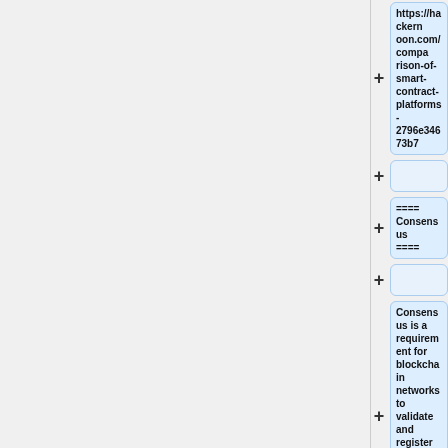[Figure (flowchart): A vertical tree/outline view showing collapsible nodes. Left panel is blank/grey. Right side shows several expanded nodes: 1) A URL node 'https://hackernoon.com/comparison-of-smart-contract-platforms-2796e34673b7', 2) An empty node, 3) A node with '==== Consensus ====', 4) An empty node, 5) A node with text 'Consensus is a requirement for blockchain networks to validate and register transactions, and it can be of different types']